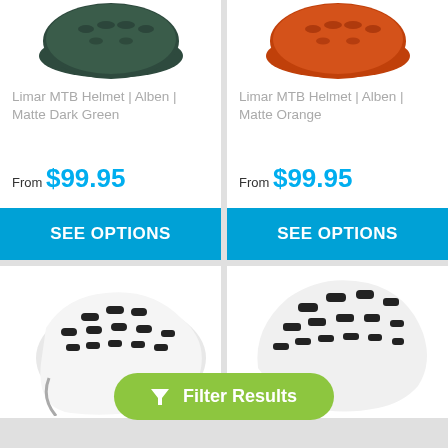[Figure (photo): Dark green MTB helmet, partial top view]
Limar MTB Helmet | Alben | Matte Dark Green
From $99.95
SEE OPTIONS
[Figure (photo): Orange MTB helmet, partial top view]
Limar MTB Helmet | Alben | Matte Orange
From $99.95
SEE OPTIONS
[Figure (photo): White and black MTB helmet, side/front view]
[Figure (photo): White and black MTB helmet, side view]
Filter Results